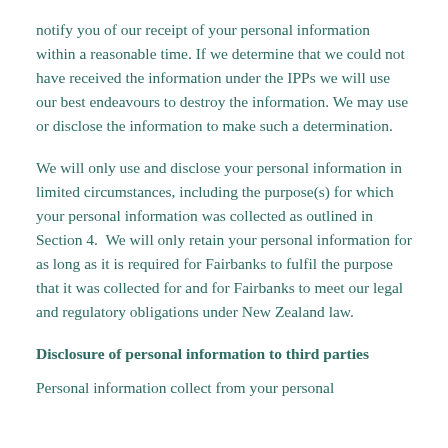notify you of our receipt of your personal information within a reasonable time. If we determine that we could not have received the information under the IPPs we will use our best endeavours to destroy the information. We may use or disclose the information to make such a determination.
We will only use and disclose your personal information in limited circumstances, including the purpose(s) for which your personal information was collected as outlined in Section 4.  We will only retain your personal information for as long as it is required for Fairbanks to fulfil the purpose that it was collected for and for Fairbanks to meet our legal and regulatory obligations under New Zealand law.
Disclosure of personal information to third parties
Personal information collect from your personal...